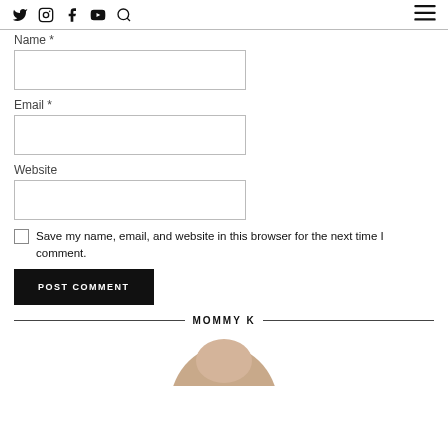Social icons: Twitter, Instagram, Facebook, YouTube, Search; Hamburger menu
Name *
[Figure (other): Empty text input field for Name]
Email *
[Figure (other): Empty text input field for Email]
Website
[Figure (other): Empty text input field for Website]
Save my name, email, and website in this browser for the next time I comment.
POST COMMENT
MOMMY K
[Figure (photo): Partial circular photo showing a person, cropped at bottom of page]